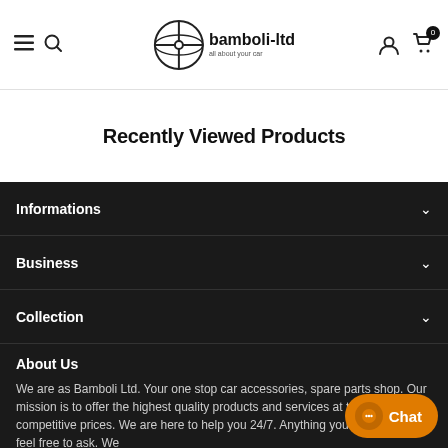bamboli-ltd — all about your car
Recently Viewed Products
Informations
Business
Collection
About Us
We are as Bamboli Ltd. Your one stop car accessories, spare parts shop. Our mission is to offer the highest quality products and services at the most competitive prices. We are here to help you 24/7. Anything you need please feel free to ask. We